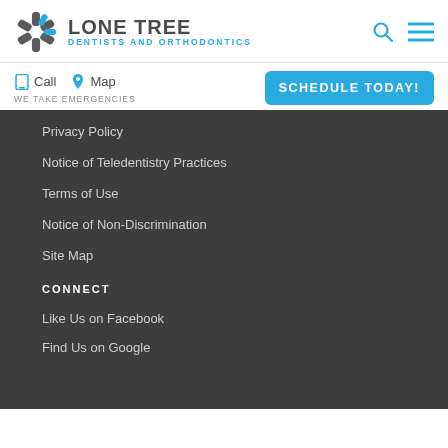[Figure (logo): Lone Tree Dentists and Orthodontics logo with starburst icon]
Call   Map   WE TAKE EMERGENCIES   SCHEDULE TODAY!
Privacy Policy
Notice of Teledentistry Practices
Terms of Use
Notice of Non-Discrimination
Site Map
CONNECT
Like Us on Facebook
Find Us on Google